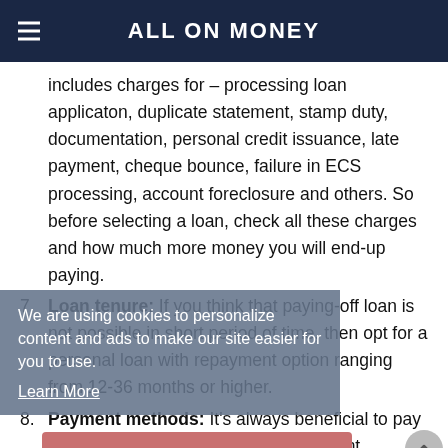ALL ON MONEY
includes charges for – processing loan applicaton, duplicate statement, stamp duty, documentation, personal credit issuance, late payment, cheque bounce, failure in ECS processing, account foreclosure and others. So before selecting a loan, check all these charges and how much more money you will end-up paying.
7. Loan tenure: If you think that paying-off loan is not possible in short period of time, then opt for a personal loan with repayment option ranging from 12-36 months or higher.
8. Payment methods: It's always beneficial to pay your EMIs on time to avoid late payment charges, impact on credit rating etc. Many a times, you may forget to pay EMIs even after having sufficient funds in hand. So best way is to look for a bank which offers multiple options for repayment